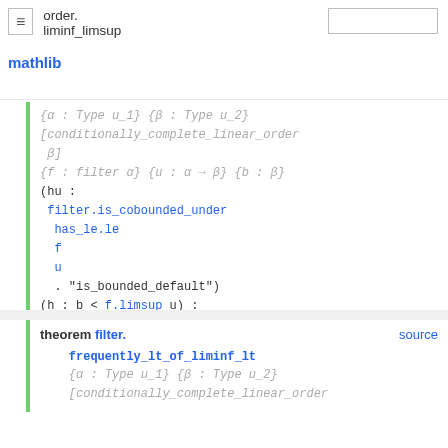order. liminf_limsup
{α : Type u_1} {β : Type u_2} [conditionally_complete_linear_order β] {f : filter α} {u : α → β} {b : β} (hu : filter.is_cobounded_under has_le.le f u . "is_bounded_default") (h : b < f.limsup u) : ∃ᶠ (x : α) in f, b < u x
theorem filter. frequently_lt_of_liminf_lt {α : Type u_1} {β : Type u_2} [conditionally_complete_linear_order source